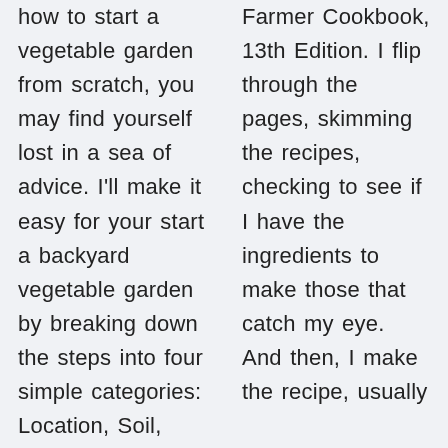how to start a vegetable garden from scratch, you may find yourself lost in a sea of advice. I'll make it easy for your start a backyard vegetable garden by breaking down the steps into four simple categories: Location, Soil,
Farmer Cookbook, 13th Edition. I flip through the pages, skimming the recipes, checking to see if I have the ingredients to make those that catch my eye. And then, I make the recipe, usually